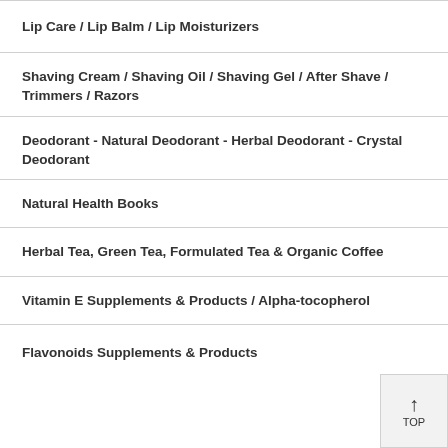Lip Care / Lip Balm / Lip Moisturizers
Shaving Cream / Shaving Oil / Shaving Gel / After Shave / Trimmers / Razors
Deodorant - Natural Deodorant - Herbal Deodorant - Crystal Deodorant
Natural Health Books
Herbal Tea, Green Tea, Formulated Tea & Organic Coffee
Vitamin E Supplements & Products / Alpha-tocopherol
Flavonoids Supplements & Products